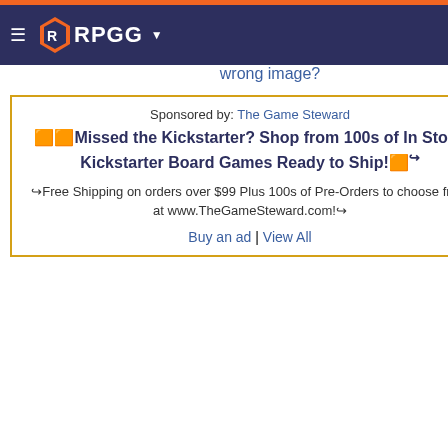RPGG — Sign In | Join (it's free)!
wrong image?
Sponsored by: The Game Steward
🟧🟧Missed the Kickstarter? Shop from 100s of In Stock Kickstarter Board Games Ready to Ship!🟧➔
➔Free Shipping on orders over $99 Plus 100s of Pre-Orders to choose from at www.TheGameSteward.com!➔
Buy an ad | View All
|  |  |
| --- | --- |
|  | to enhance play) |
| Mechanic | Attribute/Stat Based (STR, CON, PER, etc)
Class Based (Pilot, Wizard, Scientist, etc)
Dice (Primarily d20)
Dice (Various)
Show More » |
| Designer | M. Jason Parent
Dallas Parsons |
| Artist | Clipart.com
Christopher Herndon
John L. Swann |
| Production Staff | M. Jason Parent |
ObjectID
RSS
Rec
Play